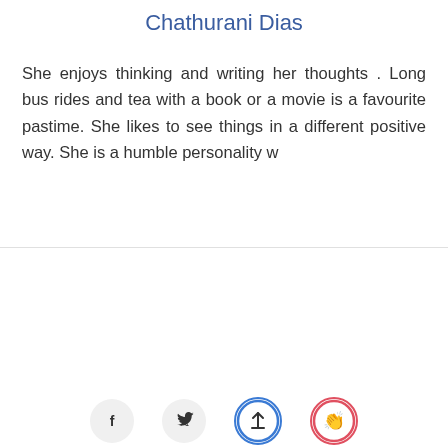Chathurani Dias
She enjoys thinking and writing her thoughts . Long bus rides and tea with a book or a movie is a favourite pastime. She likes to see things in a different positive way. She is a humble personality w
[Figure (other): Social media and action icon buttons row: Facebook (gray circle), Twitter (gray circle), Upload/share (blue circle with up arrow), Clapping hands (red-bordered circle)]